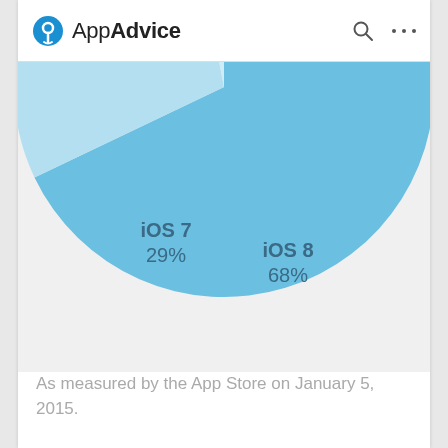AppAdvice
[Figure (pie-chart): iOS version distribution]
As measured by the App Store on January 5, 2015.